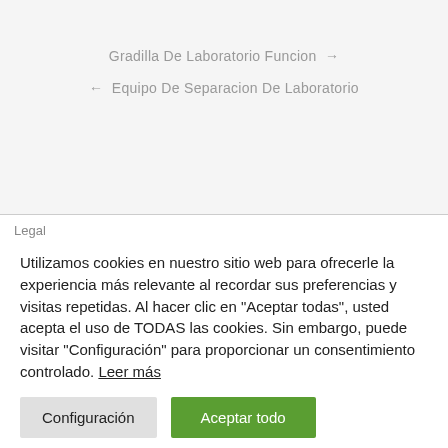Gradilla De Laboratorio Funcion →
← Equipo De Separacion De Laboratorio
Legal
Utilizamos cookies en nuestro sitio web para ofrecerle la experiencia más relevante al recordar sus preferencias y visitas repetidas. Al hacer clic en "Aceptar todas", usted acepta el uso de TODAS las cookies. Sin embargo, puede visitar "Configuración" para proporcionar un consentimiento controlado. Leer más
Configuración | Aceptar todo